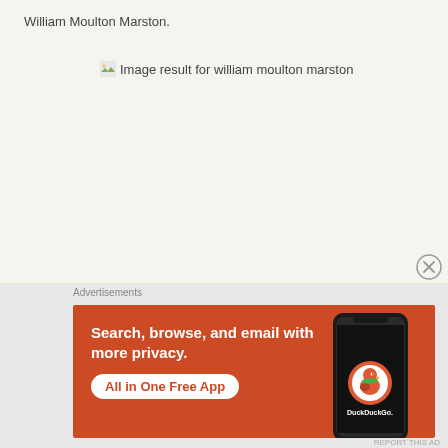William Moulton Marston.
[Figure (screenshot): Broken image placeholder with alt text 'Image result for william moulton marston']
[Figure (screenshot): DuckDuckGo advertisement banner with orange background. Text reads: 'Search, browse, and email with more privacy. All in One Free App' with a phone showing DuckDuckGo app.]